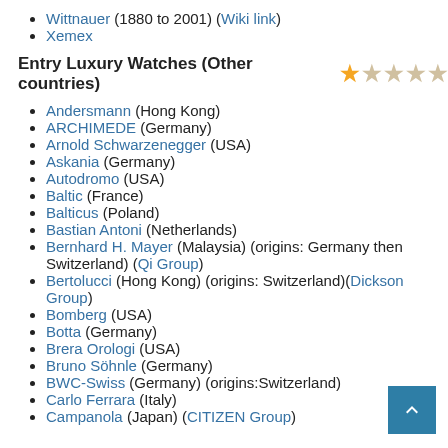Wittnauer (1880 to 2001) (Wiki link)
Xemex
Entry Luxury Watches (Other countries) ★☆☆☆☆
Andersmann (Hong Kong)
ARCHIMEDE (Germany)
Arnold Schwarzenegger (USA)
Askania (Germany)
Autodromo (USA)
Baltic (France)
Balticus (Poland)
Bastian Antoni (Netherlands)
Bernhard H. Mayer (Malaysia) (origins: Germany then Switzerland) (Qi Group)
Bertolucci (Hong Kong) (origins: Switzerland)(Dickson Group)
Bomberg (USA)
Botta (Germany)
Brera Orologi (USA)
Bruno Söhnle (Germany)
BWC-Swiss (Germany) (origins:Switzerland)
Carlo Ferrara (Italy)
Campanola (Japan) (CITIZEN Group)